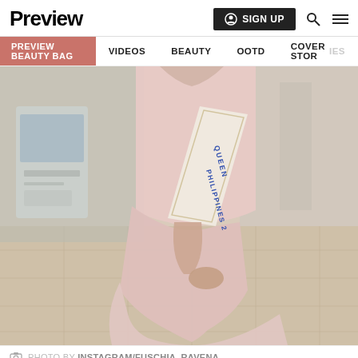Preview
SIGN UP  🔍  ≡
PREVIEW BEAUTY BAG  VIDEOS  BEAUTY  OOTD  COVER STORIES
[Figure (photo): Woman wearing a pale pink two-piece outfit (crop top and mermaid skirt) with a pageant sash reading 'QUEEN PHILIPPINES 2...' walking in what appears to be an airport terminal.]
PHOTO BY INSTAGRAM/FUSCHIA_RAVENA